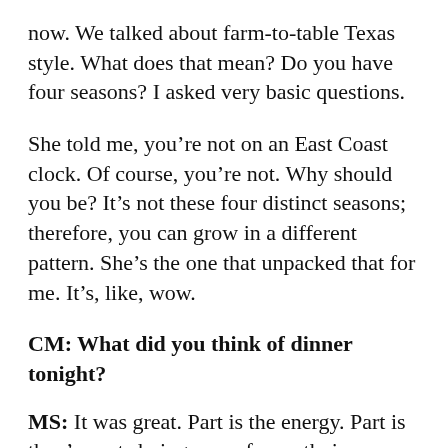now. We talked about farm-to-table Texas style. What does that mean? Do you have four seasons? I asked very basic questions.
She told me, you’re not on an East Coast clock. Of course, you’re not. Why should you be? It’s not these four distinct seasons; therefore, you can grow in a different pattern. She’s the one that unpacked that for me. It’s, like, wow.
CM: What did you think of dinner tonight?
MS: It was great. Part is the energy. Part is they’re not shying away from ethnic. They’re not putting Sriracha on that. They’re really staying with what it is.
That crab fritter, I’ve had it 50 times in Africa. It tastes like that. The bun was different. That road snack with the steak;